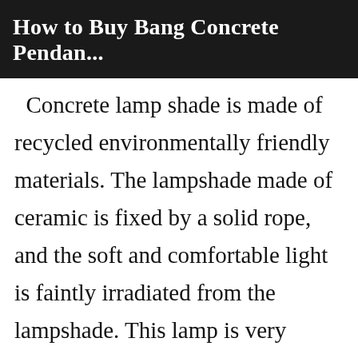How to Buy Bang Concrete Pendan...
Concrete lamp shade is made of recycled environmentally friendly materials. The lampshade made of ceramic is fixed by a solid rope, and the soft and comfortable light is faintly irradiated from the lampshade. This lamp is very suitable for restaurants or dinning rooms. Concise appearance and modern design style, concrete led lamp will definitely leave a deep impression on you. You can buy concrete ceiling lamp on website at a cost-effective price. Here are